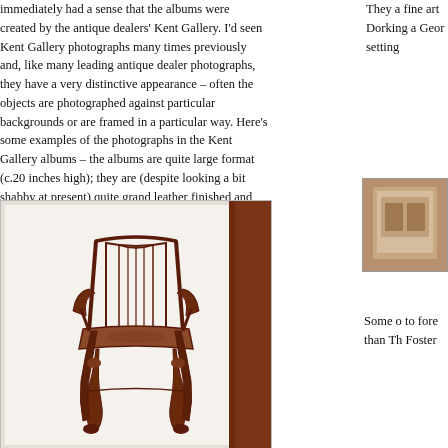immediately had a sense that the albums were created by the antique dealers' Kent Gallery. I'd seen Kent Gallery photographs many times previously and, like many leading antique dealer photographs, they have a very distinctive appearance – often the objects are photographed against particular backgrounds or are framed in a particular way. Here's some examples of the photographs in the Kent Gallery albums – the albums are quite large format (c.20 inches high); they are (despite looking a bit shabby at present) quite grand leather finished and gilt-tooled albums. The photograph albums were used by Kent Gallery as inventories of stock, as well as perhaps to show customers what was available for sale, and acting as catalysts for asking customers what kinds of antique furniture they might be interested in purchasing.
They a fine art Dorking a Geor setting
[Figure (photo): A photograph of an open album page showing a black and white photograph of an antique Chippendale-style armchair with carved details and cabriole legs, displayed against a white background. A brown leather album binding is visible at the right edge.]
[Figure (photo): A small partial image visible in the right column, appears to show a framed piece or interior setting.]
Some o to fore than Th Foster